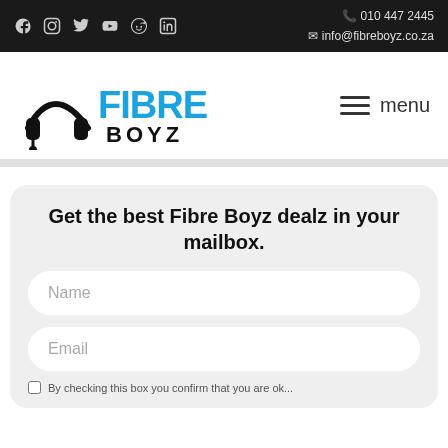010 447 2445 | info@fibreboyz.co.za
[Figure (logo): Fibre Boyz logo with headphone icon and blue text]
Get the best Fibre Boyz dealz in your mailbox.
Name
Email
By checking this box you confirm that you are ok...